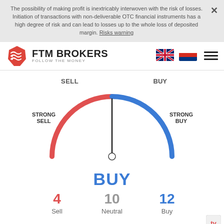The possibility of making profit is inextricably interwoven with the risk of losses. Initiation of transactions with non-deliverable OTC financial instruments has a high degree of risk and can lead to losses up to the whole loss of deposited margin. Risks warning
[Figure (other): FTM Brokers logo — red geometric hexagon shape with wavy lines, followed by brand name FTM BROKERS and tagline FOLLOW THE MONEY]
[Figure (other): UK flag and Russian flag icons for language selection, plus hamburger menu icon]
[Figure (other): Semicircular gauge/sentiment indicator showing BUY signal. Left half arc in red labeled SELL and STRONG SELL. Right half arc in blue labeled BUY and STRONG BUY. Needle pointing straight up (neutral-to-buy). Pivot point circle at bottom center.]
BUY
4
Sell
10
Neutral
12
Buy